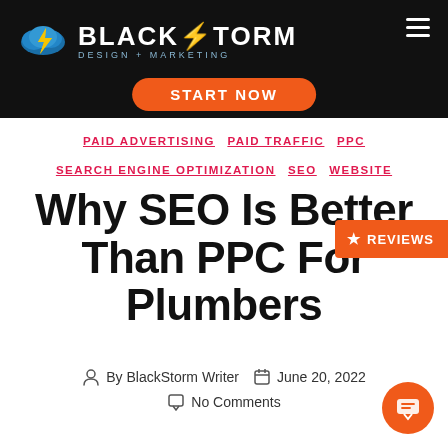[Figure (logo): BlackStorm Design + Marketing logo with lightning bolt and cloud icon on black navigation bar with START NOW orange button]
PAID ADVERTISING  PAID TRAFFIC  PPC  SEARCH ENGINE OPTIMIZATION  SEO  WEBSITE
Why SEO Is Better Than PPC For Plumbers
REVIEWS
By BlackStorm Writer  June 20, 2022  No Comments